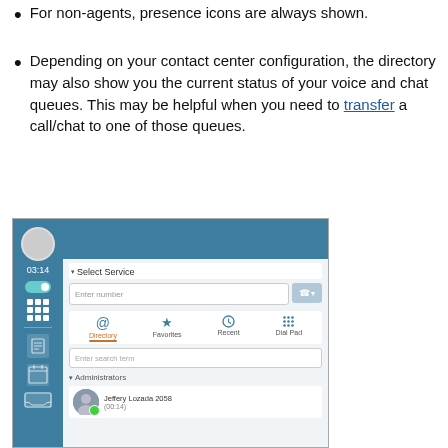For non-agents, presence icons are always shown.
Depending on your contact center configuration, the directory may also show you the current status of your voice and chat queues. This may be helpful when you need to transfer a call/chat to one of those queues.
[Figure (screenshot): Contact center UI screenshot showing the Directory tab with a transfer dialog. The sidebar shows navigation icons including an avatar, time 03:14, toggle, grid, document, calendar, and tray icons on a blue background. The main area shows 'Select Service' dropdown, an 'Enter number' input field with a button, tabs for Directory (active, with orange underline), Favorites, Recent, and Dial Pad. Below is a search field 'Enter search term', then an 'Administrators' section showing 'Jeffery Lozada 2058 (00:14)' with an avatar and green badge.]